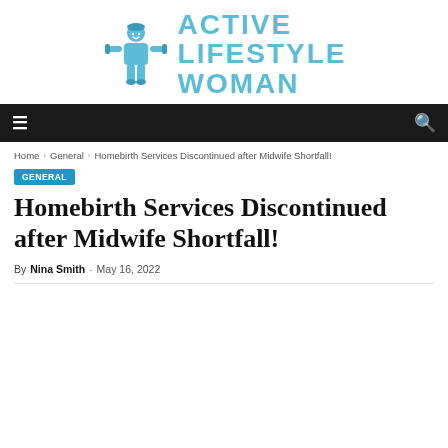[Figure (logo): Active Lifestyle Woman logo with illustrated woman figure holding dumbbells and blue stacked text reading ACTIVE LIFESTYLE WOMAN]
Navigation bar with menu icons
Home › General › Homebirth Services Discontinued after Midwife Shortfall!
GENERAL
Homebirth Services Discontinued after Midwife Shortfall!
By Nina Smith - May 16, 2022